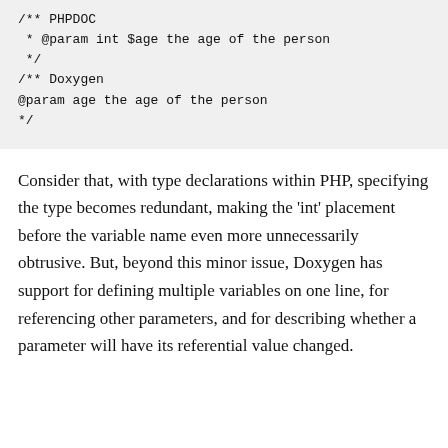/** PHPDOC
 * @param int $age the age of the person
 */
/** Doxygen
@param age the age of the person
*/
Consider that, with type declarations within PHP, specifying the type becomes redundant, making the 'int' placement before the variable name even more unnecessarily obtrusive. But, beyond this minor issue, Doxygen has support for defining multiple variables on one line, for referencing other parameters, and for describing whether a parameter will have its referential value changed.